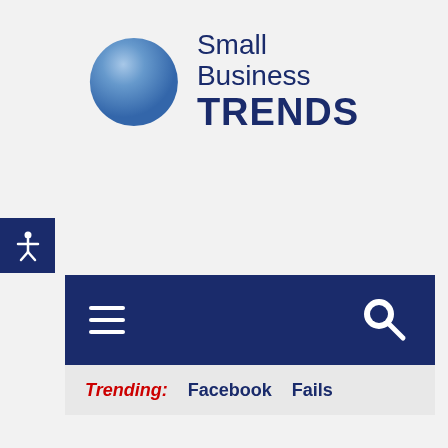[Figure (logo): Small Business Trends logo with blue gradient circle and dark navy text]
[Figure (infographic): Accessibility icon button (person with arms out) on dark navy square background]
[Figure (infographic): Dark navy navigation bar with hamburger menu icon on left and search magnifying glass icon on right]
Trending: Facebook Fails